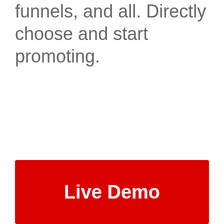funnels, and all. Directly choose and start promoting.
[Figure (other): Red button with white bold text reading 'Live Demo']